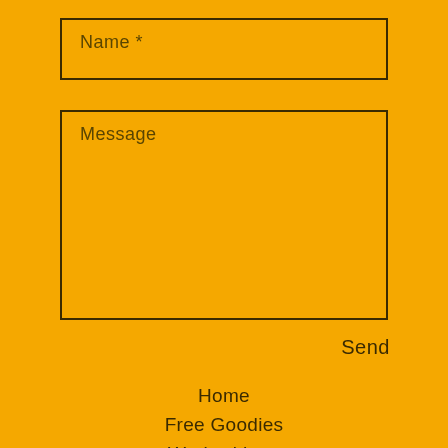Name *
Message
Send
Home
Free Goodies
Work with us
Videos
Blog
Anne & Hanne